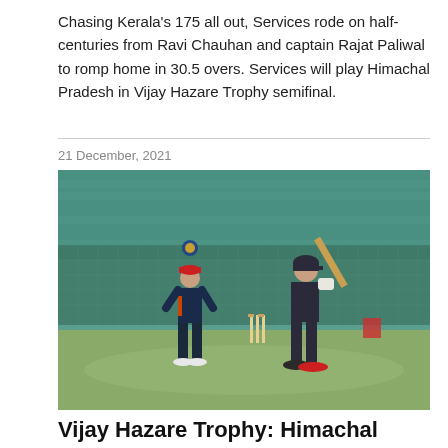Chasing Kerala's 175 all out, Services rode on half-centuries from Ravi Chauhan and captain Rajat Paliwal to romp home in 30.5 overs. Services will play Himachal Pradesh in Vijay Hazare Trophy semifinal.
21 December, 2021
[Figure (photo): Cricket match photo showing a batsman in dark uniform playing a shot and a fielder/wicketkeeper in dark jacket with red cap, on a grass field with green stadium stands in the background.]
Vijay Hazare Trophy: Himachal Pradesh